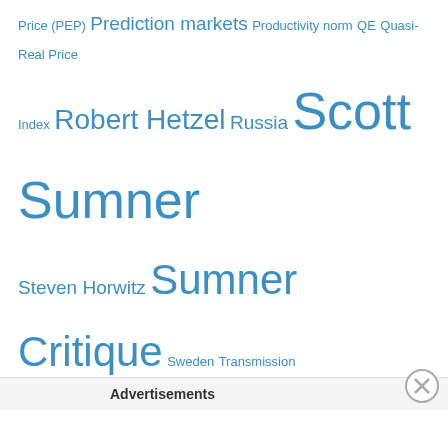Price (PEP) Prediction markets Productivity norm QE Quasi-Real Price Index Robert Hetzel Russia Scott Sumner Steven Horwitz Sumner Critique Sweden Transmission mechanism Venezuela
The Market Monetarist on Twitter
@CBoraghi @CKjersgaard @DebattenDR2 Lige præcis det program har jeg forlænge siden besluttet ikke at deltage i. Det er en skrigeklub.
4 hours ago
RT @jnaervig: High inflation flashbacks - a [image], on what we can learn from history in terms of the time it takes inflation to normalise close…
4 hours ago
Advertisements